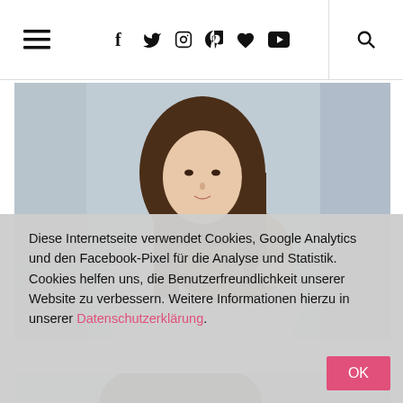Navigation bar with hamburger menu, social icons (f, twitter, instagram, pinterest, heart, youtube), and search icon
[Figure (photo): Fashion photo of a young woman with long brown hair wearing a white lace top and leopard print scarf, outdoors with architectural background]
[Figure (photo): Fashion photo showing a person with dark hair and bangs, partially cropped, with blurred architectural background]
Diese Internetseite verwendet Cookies, Google Analytics und den Facebook-Pixel für die Analyse und Statistik. Cookies helfen uns, die Benutzerfreundlichkeit unserer Website zu verbessern. Weitere Informationen hierzu in unserer Datenschutzerklärung.